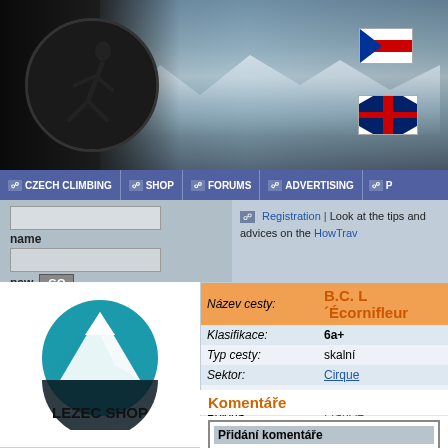[Figure (screenshot): Website header banner with mountain landscape and climbing figure silhouette]
CZECH CLIMBING | SHOP | FORUMS | ADVERTISING | P...
name
psw
GO
Registration | Look at the tips and advices on the HowTrav...
[Figure (logo): Lezec Shop logo with mountain graphic in teal circle]
Books
[Figure (photo): Book cover image]
Nová kniha Lékaři na horách: neviditelní hrdinové
Slovinsko
Frankenjura Band 1 a Band 2
Competitions
|  |  |
| --- | --- |
| Název cesty: | B.C. L´Écornifleur |
| Klasifikace: | 6a+ |
| Typ cesty: | skalní |
| Sektor: | Cirque |
| Oblast: | St. Léger Du Ventoux |
| Poloha: | Francie |
| Délka: | 25 m |
| Jištění: | nýty |
| Zapsal: | 15.01.2003 13:59:07 |
Komentáře
| Jméno | Email |
| --- | --- |
|  |  |